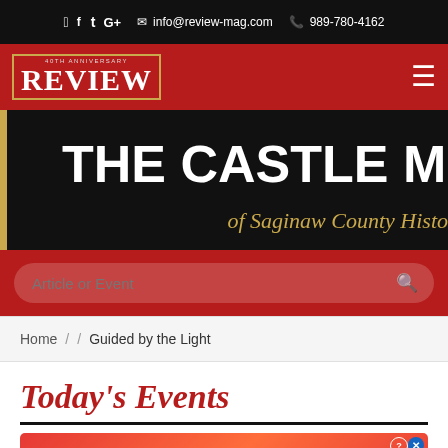f  t  G+  info@review-mag.com  989-780-4162
[Figure (logo): Review Magazine logo with anniversary badge on red navigation bar with hamburger menu icon]
THE CASTLE MUSEUM of Saginaw County Histo
Article or Event
Home / / Guided by the Light
Today's Events
[Figure (infographic): BitLife Real Choices advertisement banner with emoji characters on red background]